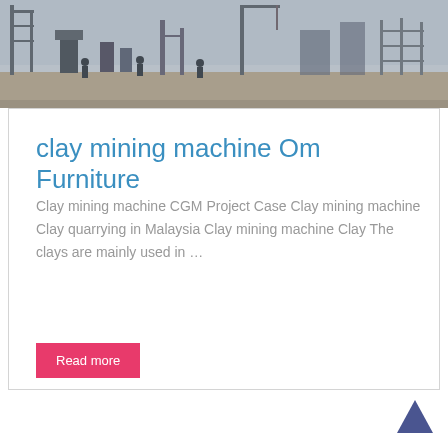[Figure (photo): Construction site photograph showing workers and machinery/equipment]
clay mining machine Om Furniture
Clay mining machine CGM Project Case Clay mining machine Clay quarrying in Malaysia Clay mining machine Clay The clays are mainly used in …